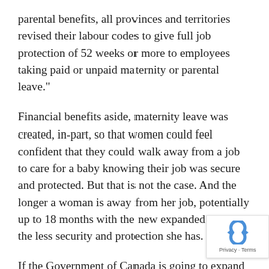parental benefits, all provinces and territories revised their labour codes to give full job protection of 52 weeks or more to employees taking paid or unpaid maternity or parental leave."
Financial benefits aside, maternity leave was created, in-part, so that women could feel confident that they could walk away from a job to care for a baby knowing their job was secure and protected. But that is not the case. And the longer a woman is away from her job, potentially up to 18 months with the new expanded leave, the less security and protection she has.
If the Government of Canada is going to expand its parental leave program then it also needs to put in place strict rules that protect those parents' jobs when th choose to take a leave to care for young children. As as employers can eliminate a job during or soon after a